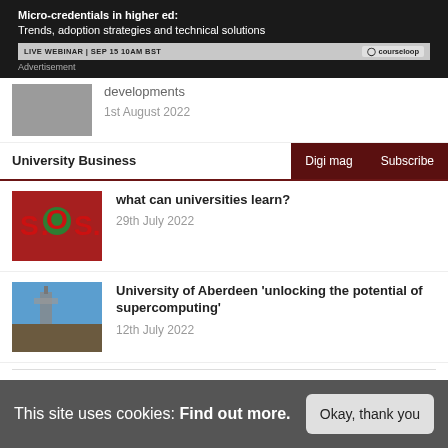[Figure (screenshot): Advertisement banner for Courseloop webinar: Micro-credentials in higher ed: Trends, adoption strategies and technical solutions. LIVE WEBINAR | SEP 15 10AM BST. courseloop logo.]
Advertisement
[Figure (photo): Partially visible article thumbnail image]
developments
1st August 2022
University Business | Digi mag | Subscribe
[Figure (photo): SOS sign with globe/earth in the middle letter O, red letters]
what can universities learn?
29th July 2022
[Figure (photo): University of Aberdeen building with blue sky]
University of Aberdeen ‘unlocking the potential of supercomputing’
12th July 2022
This site uses cookies: Find out more.
Okay, thank you